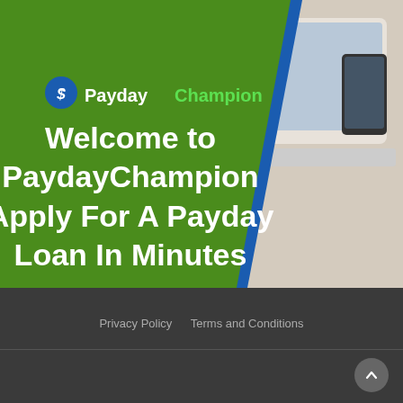[Figure (infographic): PaydayChampion branded banner image. Green panel overlaid on a photo background (laptop/desk scene). Blue diagonal stripe accent. Logo with dollar-sign icon and 'PaydayChampion' text. Headline text 'Welcome to PaydayChampion Apply For A Payday Loan In Minutes' in white bold.]
Privacy Policy   Terms and Conditions